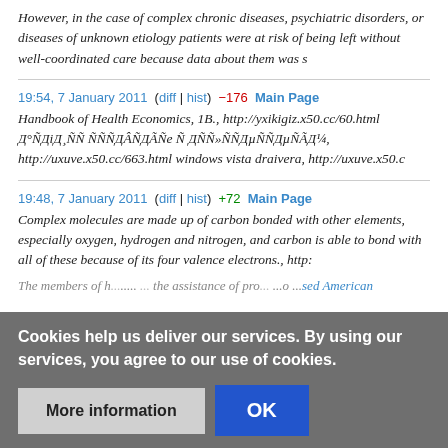However, in the case of complex chronic diseases, psychiatric disorders, or diseases of unknown etiology patients were at risk of being left without well-coordinated care because data about them was s
19:54, 7 January 2011  (diff | hist)  −176  Main Page
Handbook of Health Economics, 1B., http://yxikigiz.x50.cc/60.html Д°ÑДіД¸ÑÑ ÑÑÑДÂÑДЕÑе Ñ ДÑÑ»ÑÑДµÑÑДµÑЕД¼, http://uxuve.x50.cc/663.html windows vista draivera, http://uxuve.x50.c
19:48, 7 January 2011  (diff | hist)  +72  Main Page
Complex molecules are made up of carbon bonded with other elements, especially oxygen, hydrogen and nitrogen, and carbon is able to bond with all of these because of its four valence electrons., http:
Cookies help us deliver our services. By using our services, you agree to our use of cookies.
The members of h... ...the assistance of pro... ...o ...sed American